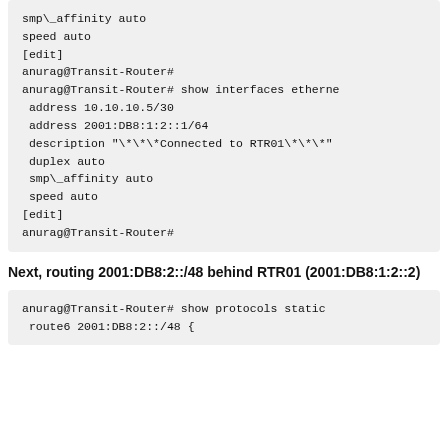smp\_affinity auto
speed auto
[edit]
anurag@Transit-Router#
anurag@Transit-Router# show interfaces etherne
  address 10.10.10.5/30
  address 2001:DB8:1:2::1/64
  description "\*\*\*Connected to RTR01\*\*\*"
  duplex auto
  smp\_affinity auto
  speed auto
[edit]
anurag@Transit-Router#
Next, routing 2001:DB8:2::/48 behind RTR01 (2001:DB8:1:2::2)
anurag@Transit-Router# show protocols static
  route6 2001:DB8:2::/48 {